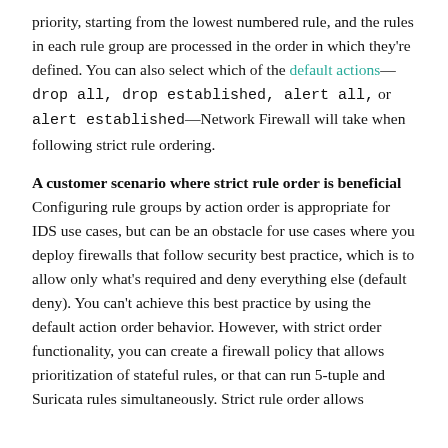priority, starting from the lowest numbered rule, and the rules in each rule group are processed in the order in which they're defined. You can also select which of the default actions—drop all, drop established, alert all, or alert established—Network Firewall will take when following strict rule ordering.
A customer scenario where strict rule order is beneficial
Configuring rule groups by action order is appropriate for IDS use cases, but can be an obstacle for use cases where you deploy firewalls that follow security best practice, which is to allow only what's required and deny everything else (default deny). You can't achieve this best practice by using the default action order behavior. However, with strict order functionality, you can create a firewall policy that allows prioritization of stateful rules, or that can run 5-tuple and Suricata rules simultaneously. Strict rule order allows